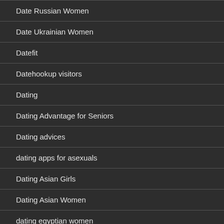Date Russian Women
Date Ukrainian Women
Datefit
Datehookup visitors
Dating
Dating Advantage for Seniors
Dating advices
dating apps for asexuals
Dating Asian Girls
Dating Asian Women
dating egyptian women